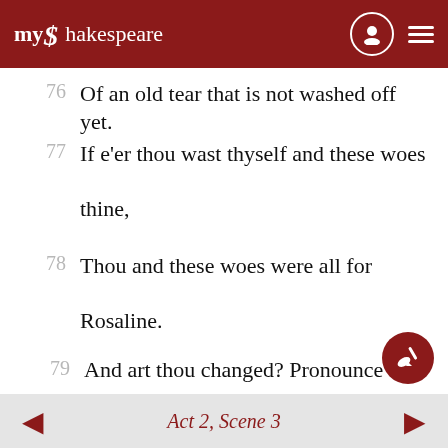myShakespeare
76   Of an old tear that is not washed off yet.
77   If e'er thou wast thyself and these woes thine,
78   Thou and these woes were all for Rosaline.
79   And art thou changed? Pronounce this sentence then:
proverb
80   Women may fall when there's no
Act 2, Scene 3